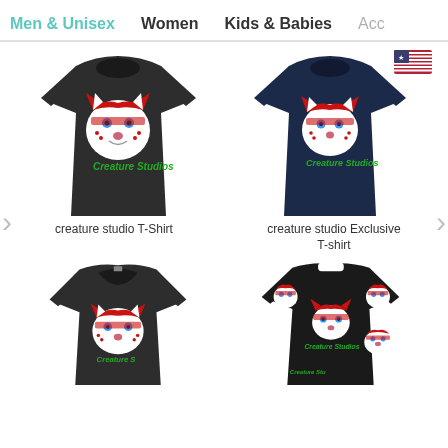Men & Unisex  Women  Kids & Babies  Acc
[Figure (photo): Black t-shirt with cartoon fox/wolf creature face graphic and 'Creature Studios' text]
creature studio T-Shirt
[Figure (photo): Navy blue t-shirt with cartoon fox/wolf creature face graphic and 'Creature Studios' text, with US flag badge]
creature studio Exclusive T-shirt
[Figure (photo): Black v-neck t-shirt with cartoon fox/wolf creature face graphic]
[Figure (photo): All-over print black t-shirt with repeating cartoon fox/wolf creature face graphic and 'Creature Studios' text]